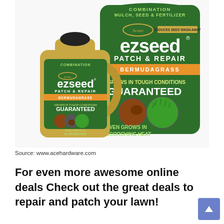[Figure (photo): Scotts EZ Seed Patch & Repair Bermudagrass products — a gold jug/bottle on the left and a large green bag on the right. Both labeled with 'Scotts ezseed PATCH & REPAIR BERMUDAGRASS GROWS IN TOUGH CONDITIONS GUARANTEED' and showing before/after lawn patch images. Text on bag: COMBINATION MULCH SEED & FERTILIZER, REDUCES SEED WASH-AWAY, EVEN GROWS IN SCORCHING HEAT.]
Source: www.acehardware.com
For even more awesome online deals Check out the great deals to repair and patch your lawn!